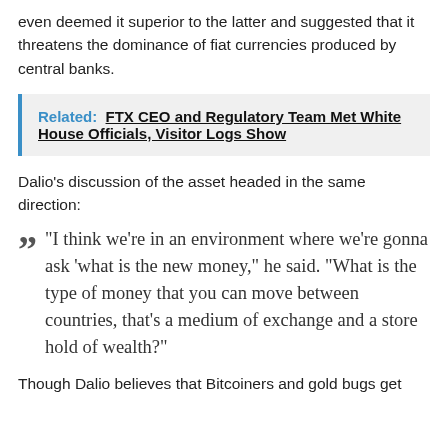even deemed it superior to the latter and suggested that it threatens the dominance of fiat currencies produced by central banks.
Related: FTX CEO and Regulatory Team Met White House Officials, Visitor Logs Show
Dalio’s discussion of the asset headed in the same direction:
“I think we’re in an environment where we’re gonna ask ‘what is the new money,” he said. “What is the type of money that you can move between countries, that’s a medium of exchange and a store hold of wealth?”
Though Dalio believes that Bitcoiners and gold bugs get